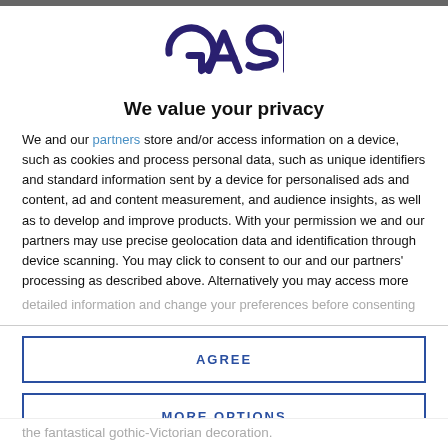[Figure (logo): GSN logo in dark navy/purple stylized lettering]
We value your privacy
We and our partners store and/or access information on a device, such as cookies and process personal data, such as unique identifiers and standard information sent by a device for personalised ads and content, ad and content measurement, and audience insights, as well as to develop and improve products. With your permission we and our partners may use precise geolocation data and identification through device scanning. You may click to consent to our and our partners' processing as described above. Alternatively you may access more
detailed information and change your preferences before consenting
AGREE
MORE OPTIONS
the fantastical gothic-Victorian decoration.